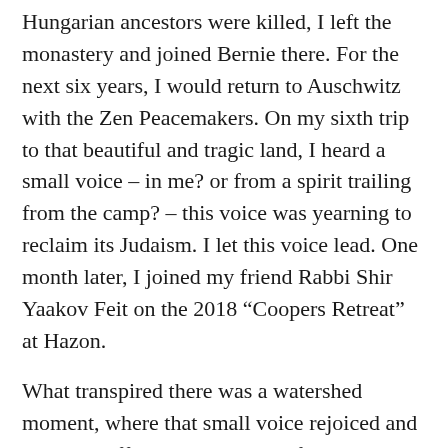Hungarian ancestors were killed, I left the monastery and joined Bernie there. For the next six years, I would return to Auschwitz with the Zen Peacemakers. On my sixth trip to that beautiful and tragic land, I heard a small voice – in me? or from a spirit trailing from the camp? – this voice was yearning to reclaim its Judaism. I let this voice lead. One month later, I joined my friend Rabbi Shir Yaakov Feit on the 2018 “Coopers Retreat” at Hazon.
What transpired there was a watershed moment, where that small voice rejoiced and roared in affirmation. My love for silence was well-established after fifteen years of meditation practice. But it was the prayers in Ivrit that broke my heart open, the faces of Jewish brothers and sisters of different Jewish denominations, ethnicities, gender and sexual orientations – but all Jewish – melting the cold ice of self-shame and self-hate that – I then learned – I had